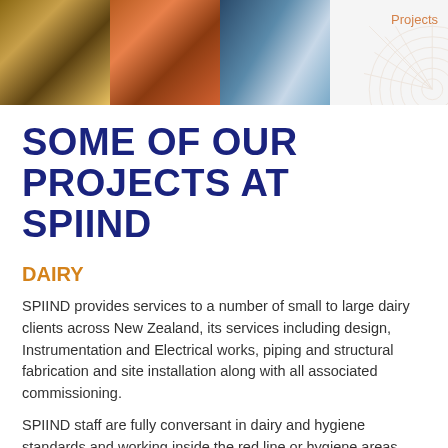[Figure (photo): Header banner with three construction/engineering photos on the left (workers, industrial materials, aircraft/vehicle) and a decorative geometric watermark on the right with 'Projects' label]
SOME OF OUR PROJECTS AT SPIIND
DAIRY
SPIIND provides services to a number of small to large dairy clients across New Zealand, its services including design, Instrumentation and Electrical works, piping and structural fabrication and site installation along with all associated commissioning.
SPIIND staff are fully conversant in dairy and hygiene standards and working inside the red line or hygiene areas.